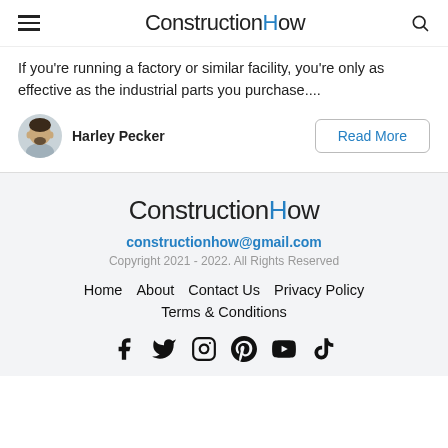ConstructionHow
If you're running a factory or similar facility, you're only as effective as the industrial parts you purchase....
Harley Pecker
Read More
ConstructionHow
constructionhow@gmail.com
Copyright 2021 - 2022. All Rights Reserved
Home  About  Contact Us  Privacy Policy
Terms & Conditions